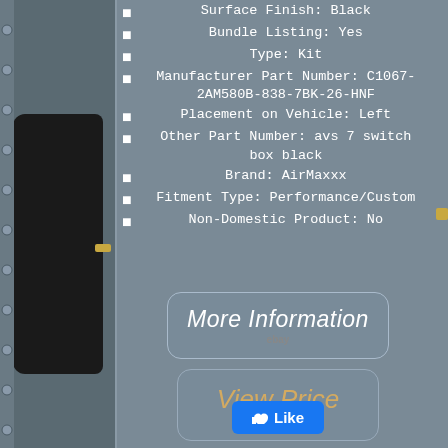[Figure (photo): Black bag/case product photo on left side of page]
Surface Finish: Black
Bundle Listing: Yes
Type: Kit
Manufacturer Part Number: C1067-2AM580B-838-7BK-26-HNF
Placement on Vehicle: Left
Other Part Number: avs 7 switch box black
Brand: AirMaxxx
Fitment Type: Performance/Custom
Non-Domestic Product: No
[Figure (screenshot): More Information button with eBay logo]
[Figure (screenshot): View Price button with eBay logo]
[Figure (screenshot): Facebook Like button]